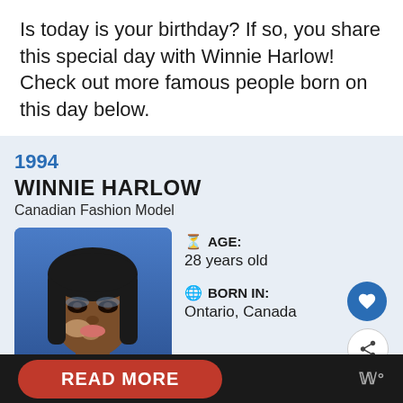Is today is your birthday? If so, you share this special day with Winnie Harlow! Check out more famous people born on this day below.
1994
WINNIE HARLOW
Canadian Fashion Model
[Figure (photo): Portrait photo of Winnie Harlow against a blue background, wearing jewelry with long dark hair]
AGE:
28 years old
BORN IN:
Ontario, Canada
READ MORE